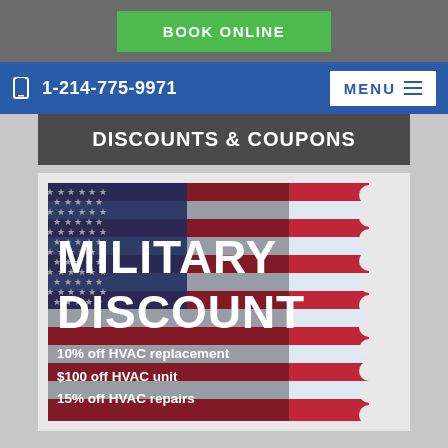BOOK ONLINE
1-214-775-9971  MENU
DISCOUNTS & COUPONS
[Figure (illustration): Military discount coupon with American flag background. Large text reads MILITARY DISCOUNT. Below: 10% off HVAC replacement, $100 off HVAC unit, 15% off HVAC repairs.]